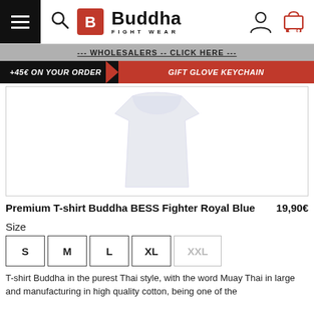Buddha Fight Wear — Navigation header with menu, search, logo, account, and cart icons
--- WHOLESALERS -- CLICK HERE ---
+45€ ON YOUR ORDER   GIFT GLOVE KEYCHAIN
[Figure (photo): Product photo of a white T-shirt on a white background]
Premium T-shirt Buddha BESS Fighter Royal Blue   19,90€
Size
S  M  L  XL  XXL
T-shirt Buddha in the purest Thai style, with the word Muay Thai in large and manufacturing in high quality cotton, being one of the